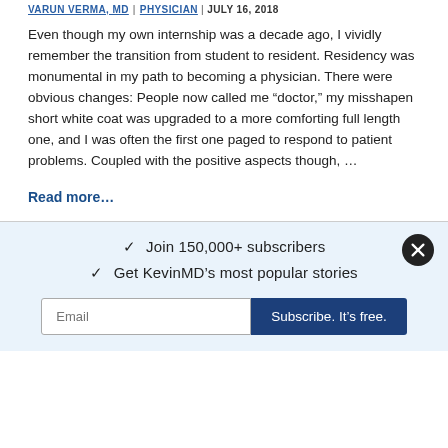VARUN VERMA, MD | PHYSICIAN | JULY 16, 2018
Even though my own internship was a decade ago, I vividly remember the transition from student to resident. Residency was monumental in my path to becoming a physician. There were obvious changes: People now called me “doctor,” my misshapen short white coat was upgraded to a more comforting full length one, and I was often the first one paged to respond to patient problems. Coupled with the positive aspects though, …
Read more…
✓  Join 150,000+ subscribers
✓  Get KevinMD’s most popular stories
Email
Subscribe. It’s free.